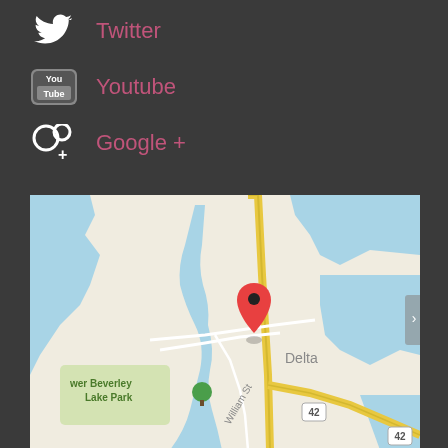Twitter
Youtube
Google +
[Figure (map): Google Maps view showing Delta area with Lower Beverley Lake Park, William St, Route 42, and a red location pin marker on Delta]